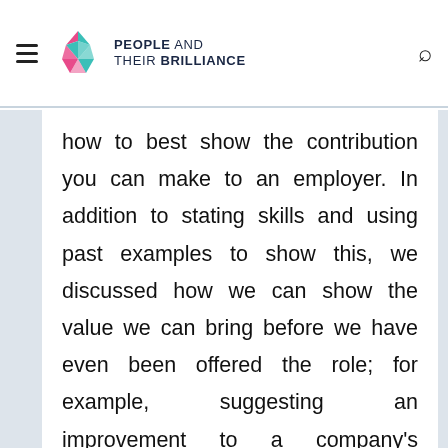PEOPLE AND THEIR BRILLIANCE
how to best show the contribution you can make to an employer. In addition to stating skills and using past examples to show this, we discussed how we can show the value we can bring before we have even been offered the role; for example, suggesting an improvement to a company's website or preparing a portfolio of work you could offer. I had never viewed job applications in